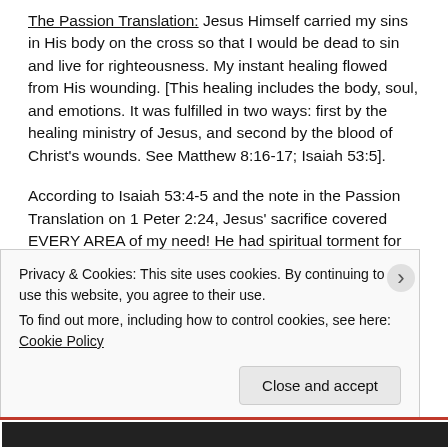The Passion Translation: Jesus Himself carried my sins in His body on the cross so that I would be dead to sin and live for righteousness. My instant healing flowed from His wounding. [This healing includes the body, soul, and emotions. It was fulfilled in two ways: first by the healing ministry of Jesus, and second by the blood of Christ's wounds. See Matthew 8:16-17; Isaiah 53:5].
According to Isaiah 53:4-5 and the note in the Passion Translation on 1 Peter 2:24, Jesus' sacrifice covered EVERY AREA of my need! He had spiritual torment for my sins when Father turned His back
Privacy & Cookies: This site uses cookies. By continuing to use this website, you agree to their use.
To find out more, including how to control cookies, see here: Cookie Policy
Close and accept